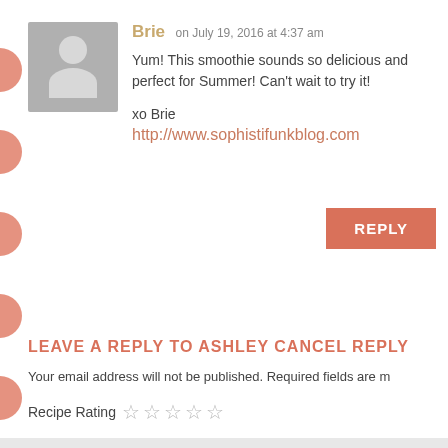[Figure (illustration): Gray avatar placeholder image showing a silhouette of a person (head and shoulders) on a gray background]
Brie on July 19, 2016 at 4:37 am
Yum! This smoothie sounds so delicious and perfect for Summer! Can't wait to try it!

xo Brie
http://www.sophistifunkblog.com
REPLY
LEAVE A REPLY TO ASHLEY CANCEL REPLY
Your email address will not be published. Required fields are m
Recipe Rating ☆☆☆☆☆